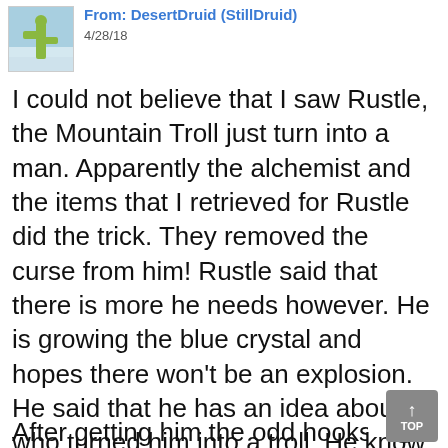From: DesertDruid (StillDruid) 4/28/18
I could not believe that I saw Rustle, the Mountain Troll just turn into a man. Apparently the alchemist and the items that I retrieved for Rustle did the trick. They removed the curse from him! Rustle said that there is more he needs however. He is growing the blue crystal and hopes there won't be an explosion. He said that he has an idea about who turned him into a troll. He know things that belong to this person.
After getting him the odd hooks, the